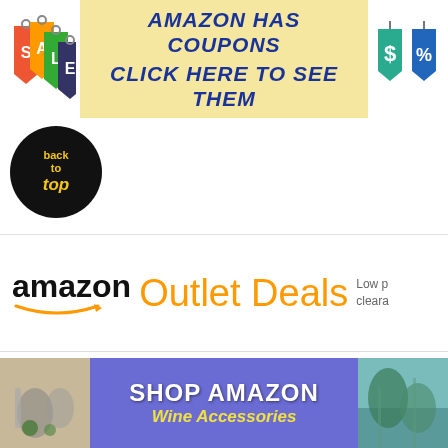[Figure (infographic): Amazon Has Coupons - Click Here To See Them banner with sale tags on left and coupon icons on right, yellow background]
[Figure (logo): Back to top circular black button with yellow text]
[Figure (infographic): Amazon Outlet Deals banner with amazon logo and orange text reading Outlet Deals, Low prices on clearance items]
[Figure (infographic): Health & Personal Care at amazon.com banner with teal gradient background and circular logo]
[Figure (infographic): Shop Amazon Wine Accessories banner with purple background, wine photo on left and water/nature photo on right]